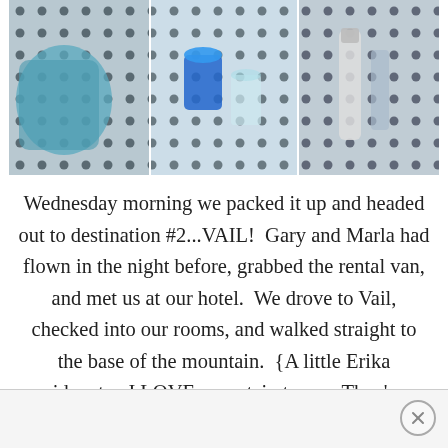[Figure (photo): A horizontal strip of three photos showing camping/outdoor items on a perforated surface with dots pattern. Left panel shows a teal/blue jacket or sleeping bag. Middle panel shows a blue cup/container and clear glass. Right panel shows a water bottle and other gear items.]
Wednesday morning we packed it up and headed out to destination #2...VAIL!  Gary and Marla had flown in the night before, grabbed the rental van, and met us at our hotel.  We drove to Vail, checked into our rooms, and walked straight to the base of the mountain.  {A little Erika sidenote...I LOVE mountain towns.  They're always so cute and I always leave wanting an antler light fixture.}